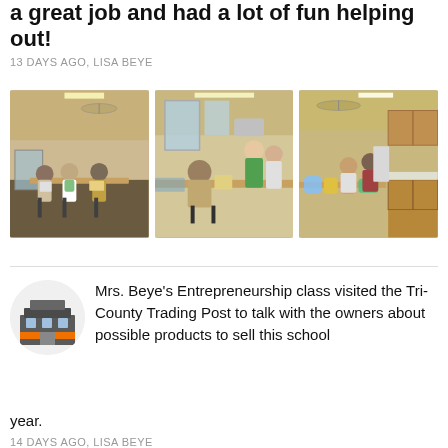a great job and had a lot of fun helping out!
13 DAYS AGO, LISA BEYE
[Figure (photo): Three photos side by side showing people sitting at tables in a kitchen/classroom setting, working on crafts or food items with supplies on the tables.]
[Figure (photo): Small circular logo image of a building, appears to be Tri-County Trading Post logo.]
Mrs. Beye’s Entrepreneurship class visited the Tri-County Trading Post to talk with the owners about possible products to sell this school year.
14 DAYS AGO, LISA BEYE